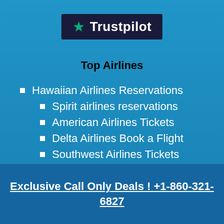[Figure (logo): Trustpilot logo: dark navy background with green star and white text 'Trustpilot']
Top Airlines
Hawaiian Airlines Reservations
Spirit airlines reservations
American Airlines Tickets
Delta Airlines Book a Flight
Southwest Airlines Tickets
Exclusive Call Only Deals ! +1-860-321-6827